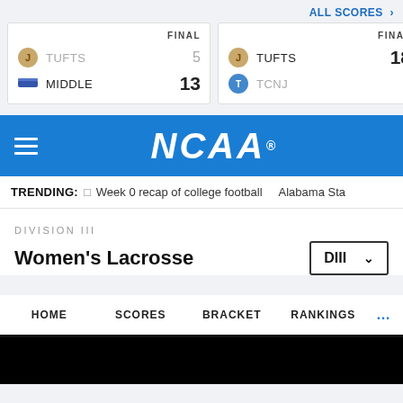ALL SCORES >
| Team | Score |
| --- | --- |
| TUFTS | 5 |
| MIDDLE | 13 |
| Team | Score |
| --- | --- |
| TUFTS | 18 |
| TCNJ | 7 |
[Figure (logo): NCAA logo on blue background with hamburger menu icon]
TRENDING: □ Week 0 recap of college football   Alabama Sta
DIVISION III
Women's Lacrosse
DIII ∨
HOME   SCORES   BRACKET   RANKINGS   ...